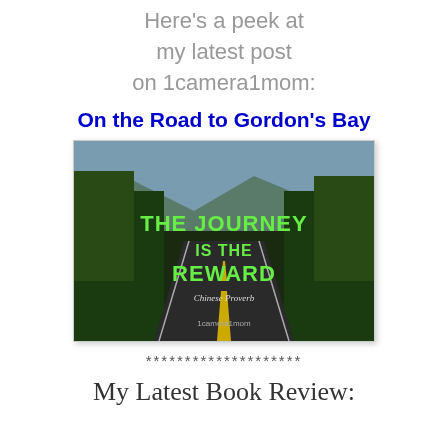Here's a peek at
my latest post
on 1camera1mom:
On the Road to Gordon's Bay
[Figure (photo): Road scene with trees on both sides leading into the distance, overlaid with green text: 'The Journey is the Reward - Chinese Proverb' and '1camera1mom' watermark.]
********************
My Latest Book Review: